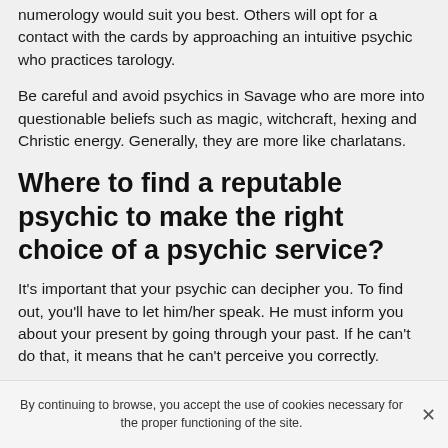numerology would suit you best. Others will opt for a contact with the cards by approaching an intuitive psychic who practices tarology.
Be careful and avoid psychics in Savage who are more into questionable beliefs such as magic, witchcraft, hexing and Christic energy. Generally, they are more like charlatans.
Where to find a reputable psychic to make the right choice of a psychic service?
It's important that your psychic can decipher you. To find out, you'll have to let him/her speak. He must inform you about your present by going through your past. If he can't do that, it means that he can't perceive you correctly.
By continuing to browse, you accept the use of cookies necessary for the proper functioning of the site.